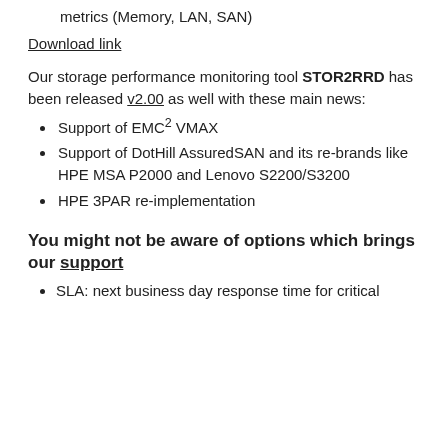metrics (Memory, LAN, SAN)
Download link
Our storage performance monitoring tool STOR2RRD has been released v2.00 as well with these main news:
Support of EMC² VMAX
Support of DotHill AssuredSAN and its re-brands like HPE MSA P2000 and Lenovo S2200/S3200
HPE 3PAR re-implementation
You might not be aware of options which brings our support
SLA: next business day response time for critical